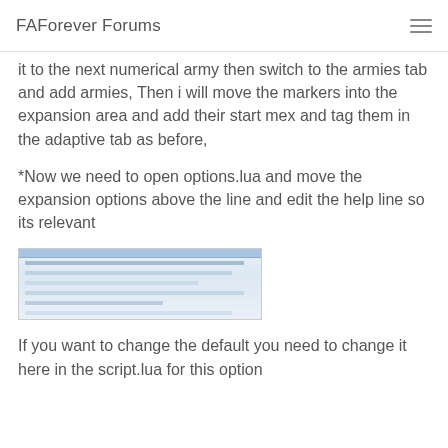FAForever Forums
it to the next numerical army then switch to the armies tab and add armies, Then i will move the markers into the expansion area and add their start mex and tag them in the adaptive tab as before,
*Now we need to open options.lua and move the expansion options above the line and edit the help line so its relevant
[Figure (screenshot): Screenshot of a code editor or configuration file showing options.lua content]
If you want to change the default you need to change it here in the script.lua for this option